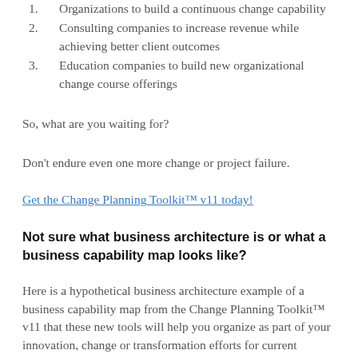Organizations to build a continuous change capability
Consulting companies to increase revenue while achieving better client outcomes
Education companies to build new organizational change course offerings
So, what are you waiting for?
Don't endure even one more change or project failure.
Get the Change Planning Toolkit™ v11 today!
Not sure what business architecture is or what a business capability map looks like?
Here is a hypothetical business architecture example of a business capability map from the Change Planning Toolkit™ v11 that these new tools will help you organize as part of your innovation, change or transformation efforts for current